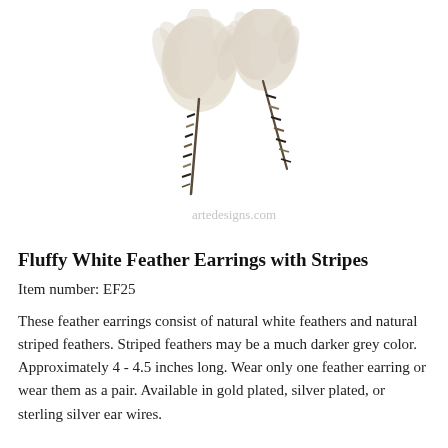[Figure (photo): Two fluffy white feather earrings with dark striped quill tips, photographed on white background. Watermark reads 'artedesigns.com'.]
Fluffy White Feather Earrings with Stripes
Item number: EF25
These feather earrings consist of natural white feathers and natural striped feathers. Striped feathers may be a much darker grey color. Approximately 4 - 4.5 inches long. Wear only one feather earring or wear them as a pair. Available in gold plated, silver plated, or sterling silver ear wires.